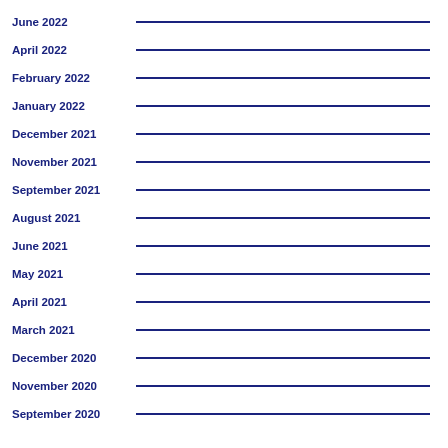June 2022
April 2022
February 2022
January 2022
December 2021
November 2021
September 2021
August 2021
June 2021
May 2021
April 2021
March 2021
December 2020
November 2020
September 2020